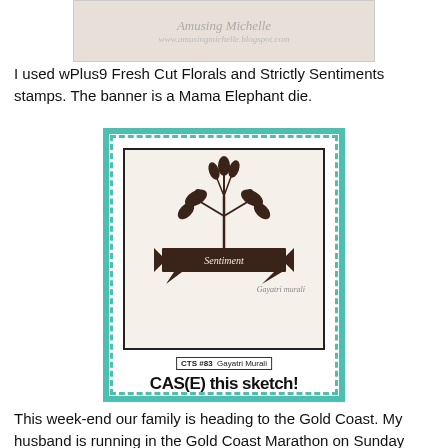[Figure (photo): Partial top image showing a craft card with text 'Amusing Michelle' and website url, on a light beige background.]
I used wPlus9 Fresh Cut Florals and Strictly Sentiments stamps. The banner is a Mama Elephant die.
[Figure (photo): A CAS(E) this sketch card layout image showing a sketch card template with floral stamp image at top, a banner reading 'Sentiment', teal sketchy border, credit label 'CTS #83 Gayatri Murali', and 'CAS(E) this sketch!' text at bottom.]
This week-end our family is heading to the Gold Coast. My husband is running in the Gold Coast Marathon on Sunday